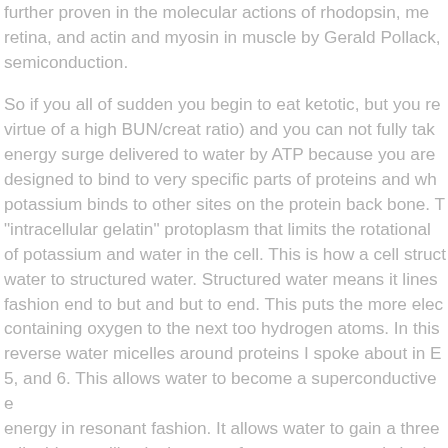further proven in the molecular actions of rhodopsin, me retina, and actin and myosin in muscle by Gerald Pollack. semiconduction.
So if you all of sudden you begin to eat ketotic, but you re virtue of a high BUN/creat ratio) and you can not fully tak energy surge delivered to water by ATP because you are designed to bind to very specific parts of proteins and wh potassium binds to other sites on the protein back bone. T "intracellular gelatin" protoplasm that limits the rotational of potassium and water in the cell. This is how a cell struct water to structured water. Structured water means it lines fashion end to but and but to end. This puts the more elec containing oxygen to the next too hydrogen atoms. In this reverse water micelles around proteins I spoke about in E 5, and 6. This allows water to become a superconductive e energy in resonant fashion. It allows water to gain a three a liquid crystalline lattice to perform quantum magic in ti